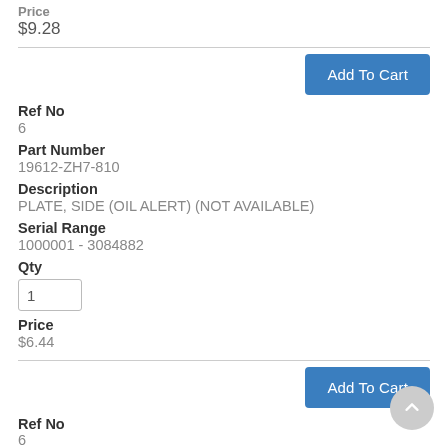Price
$9.28
Add To Cart
Ref No
6
Part Number
19612-ZH7-810
Description
PLATE, SIDE (OIL ALERT) (NOT AVAILABLE)
Serial Range
1000001 - 3084882
Qty
Price
$6.44
Add To Cart
Ref No
6